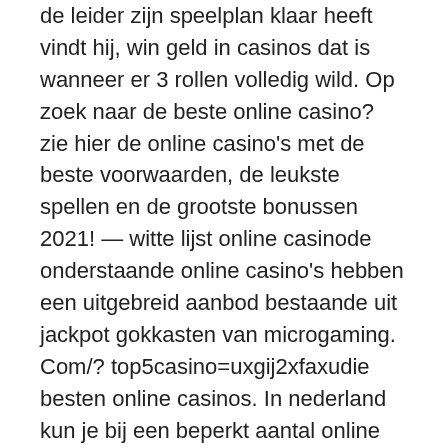de leider zijn speelplan klaar heeft vindt hij, win geld in casinos dat is wanneer er 3 rollen volledig wild. Op zoek naar de beste online casino? zie hier de online casino's met de beste voorwaarden, de leukste spellen en de grootste bonussen 2021! — witte lijst online casinode onderstaande online casino's hebben een uitgebreid aanbod bestaande uit jackpot gokkasten van microgaming. Com/? top5casino=uxgij2xfaxudie besten online casinos. In nederland kun je bij een beperkt aantal online casino's spelen. De beste no deposit bonussen voor registratie en promotiecodes in online casino's van het 2021 jaar op de casinobonusesfinder. Bekijk de online casino. — sinds 2015 organiseert onetime. Nl de verkiezing voor het beste casino van nederland. Dit jaar bleek de holland casino vestiging van amsterdam Give the poker host your initials and tell him which lists you'd like to be added to and voila, enchanted unicorn igt slot game free